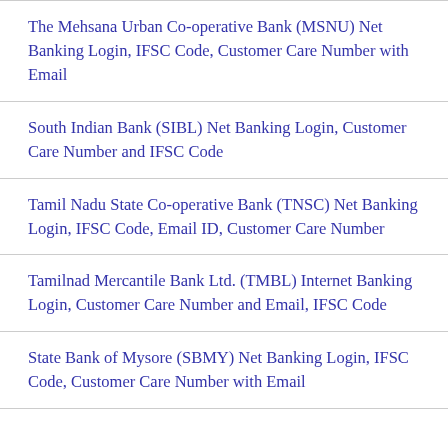The Mehsana Urban Co-operative Bank (MSNU) Net Banking Login, IFSC Code, Customer Care Number with Email
South Indian Bank (SIBL) Net Banking Login, Customer Care Number and IFSC Code
Tamil Nadu State Co-operative Bank (TNSC) Net Banking Login, IFSC Code, Email ID, Customer Care Number
Tamilnad Mercantile Bank Ltd. (TMBL) Internet Banking Login, Customer Care Number and Email, IFSC Code
State Bank of Mysore (SBMY) Net Banking Login, IFSC Code, Customer Care Number with Email